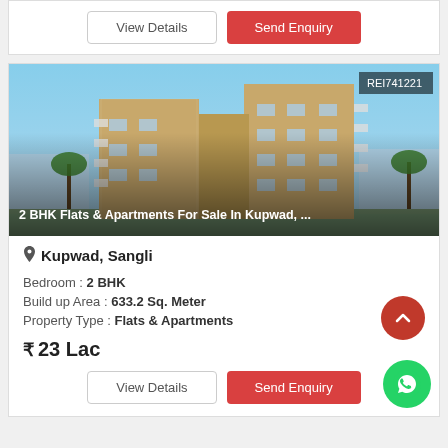[Figure (screenshot): Top portion of a property listing card showing View Details and Send Enquiry buttons]
[Figure (photo): Photograph of a multi-storey residential apartment building with palm trees, labeled REI741221, with overlay text '2 BHK Flats & Apartments For Sale In Kupwad, ...']
Kupwad, Sangli
Bedroom : 2 BHK
Build up Area : 633.2 Sq. Meter
Property Type : Flats & Apartments
₹ 23 Lac